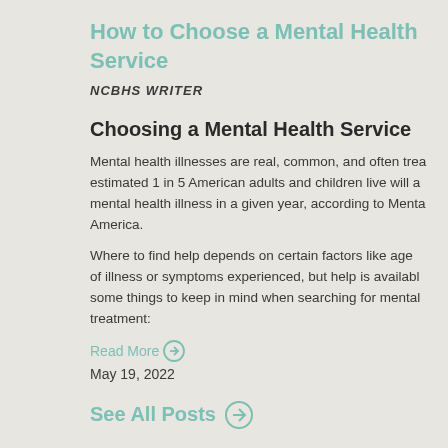How to Choose a Mental Health Service
NCBHS WRITER
Choosing a Mental Health Service
Mental health illnesses are real, common, and often trea estimated 1 in 5 American adults and children live will a mental health illness in a given year, according to Mental America.
Where to find help depends on certain factors like age of illness or symptoms experienced, but help is available some things to keep in mind when searching for mental treatment:
Read More →
May 19, 2022
See All Posts →